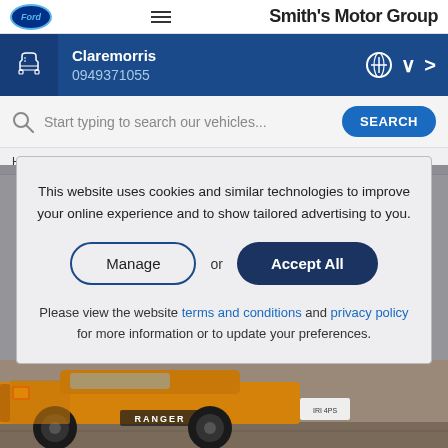Smith's Motor Group
Claremorris
0949371055
Start typing to search our vehicles...
Home > Ford offer overview > Commercials > Ford Ranger >
This website uses cookies and similar technologies to improve your online experience and to show tailored advertising to you.
Manage or Accept All
Please view the website terms and conditions and privacy policy for more information or to update your preferences.
[Figure (photo): Ford Ranger pickup truck in orange/gold color, rear three-quarter view, with 'RANGER' badge visible]